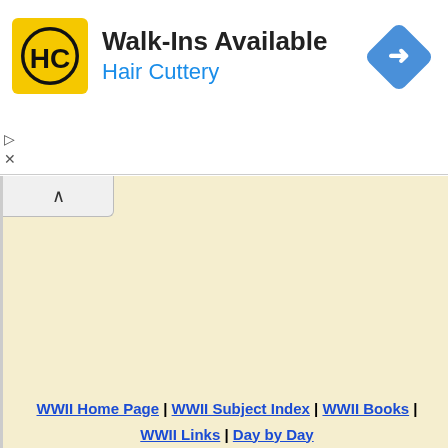[Figure (screenshot): Hair Cuttery advertisement banner with yellow HC logo, 'Walk-Ins Available' heading, 'Hair Cuttery' subtitle in blue, and a blue diamond navigation icon on the right.]
WWII Home Page | WWII Subject Index | WWII Books | WWII Links | Day by Day
How to cite this article: Rickard, J (5 August 2008), Möbelwagen/ 3.7cm FlaK auf Fahrgestell Panzerkampfwagen IV (Sf) ,